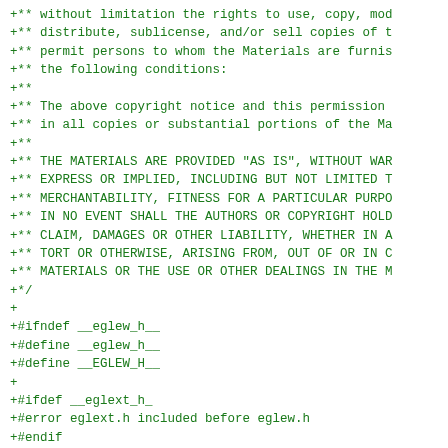+** without limitation the rights to use, copy, mod
+** distribute, sublicense, and/or sell copies of t
+** permit persons to whom the Materials are furnis
+** the following conditions:
+**
+** The above copyright notice and this permission
+** in all copies or substantial portions of the Ma
+**
+** THE MATERIALS ARE PROVIDED "AS IS", WITHOUT WAR
+** EXPRESS OR IMPLIED, INCLUDING BUT NOT LIMITED T
+** MERCHANTABILITY, FITNESS FOR A PARTICULAR PURPO
+** IN NO EVENT SHALL THE AUTHORS OR COPYRIGHT HOLD
+** CLAIM, DAMAGES OR OTHER LIABILITY, WHETHER IN A
+** TORT OR OTHERWISE, ARISING FROM, OUT OF OR IN C
+** MATERIALS OR THE USE OR OTHER DEALINGS IN THE M
+*/
+
+#ifndef __eglew_h__
+#define __eglew_h__
+#define __EGLEW_H__
+
+#ifdef __eglext_h_
+#error eglext.h included before eglew.h
+#endif
+
+#if defined(__egl_h_)
+#error egl.h included before eglew.h
+#endif
+
+#define   eglext_h